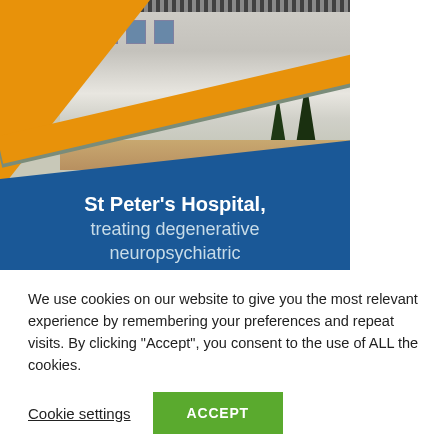[Figure (photo): St Peter's Hospital building exterior with orange and blue geometric graphic overlay. The image shows a residential-style hospital building with trees and driveway, overlaid with orange triangle and blue rectangle shapes. White text reads: St Peter's Hospital, treating degenerative neuropsychiatric conditions and ABI, is]
We use cookies on our website to give you the most relevant experience by remembering your preferences and repeat visits. By clicking “Accept”, you consent to the use of ALL the cookies.
Cookie settings
ACCEPT